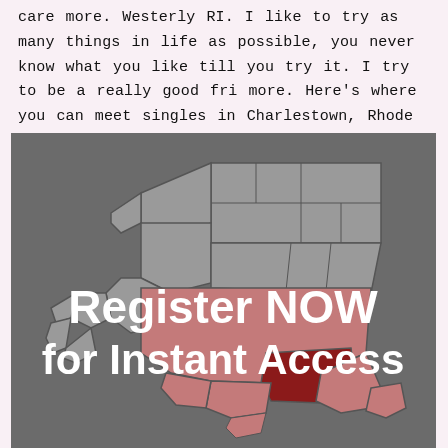care more. Westerly RI. I like to try as many things in life as possible, you never know what you like till you try it. I try to be a really good fri more. Here's where you can meet singles in Charlestown, Rhode Island.
[Figure (map): Map of Rhode Island with southern county (Charlestown area) highlighted in dark red/maroon, overlaid with text 'Register NOW for Instant Access']